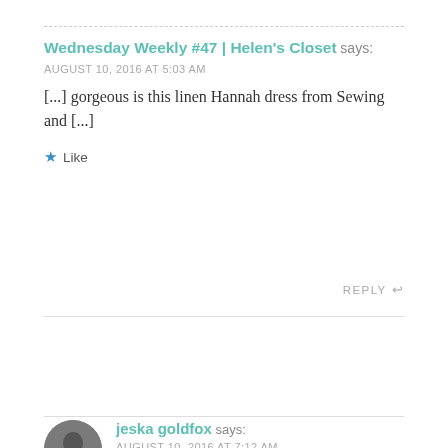Wednesday Weekly #47 | Helen's Closet says: AUGUST 10, 2016 AT 5:03 AM
[...] gorgeous is this linen Hannah dress from Sewing and [...]
Like
REPLY
jeska goldfox says: AUGUST 10, 2016 AT 7:12 AM